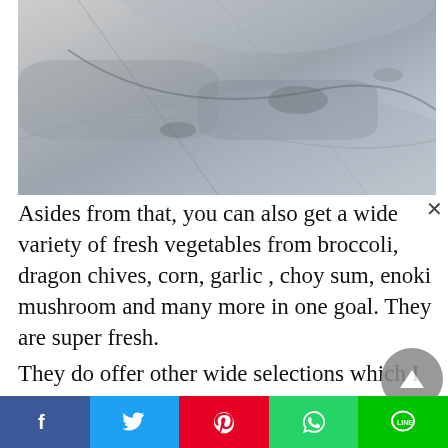[Figure (photo): A close-up grayscale photo showing a textured stone or paper surface with subtle shadows and folds. The image is partially cropped at the top.]
Asides from that, you can also get a wide variety of fresh vegetables from broccoli, dragon chives, corn, garlic , choy sum, enoki mushroom and many more in one goal. They are super fresh.
They do offer other wide selections which I give double thumbs up such as the selection of fruits which is...